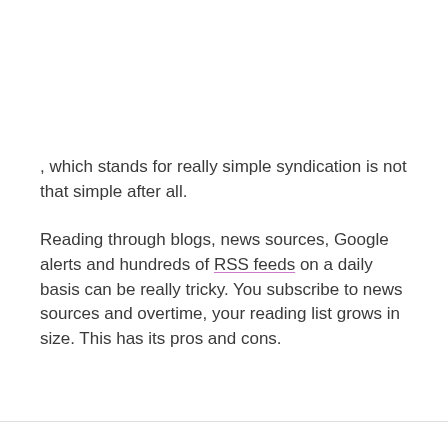, which stands for really simple syndication is not that simple after all.
Reading through blogs, news sources, Google alerts and hundreds of RSS feeds on a daily basis can be really tricky. You subscribe to news sources and overtime, your reading list grows in size. This has its pros and cons.